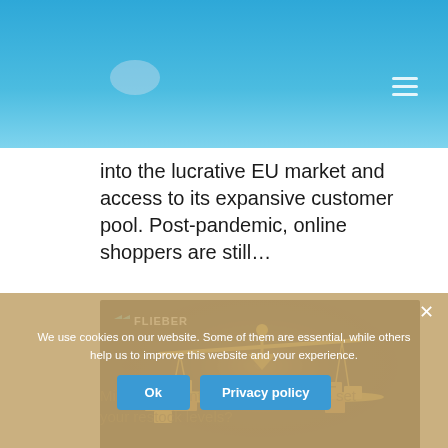into the lucrative EU market and access to its expansive customer pool. Post-pandemic, online shoppers are still…
[Figure (photo): A balanced scale with Amazon cardboard boxes on both pans, with the Flieber logo in the top left corner, on a dark background]
Min/Max Inventory: the best way to set your restock levels?
We use cookies on our website. Some of them are essential, while others help us to improve this website and your experience.